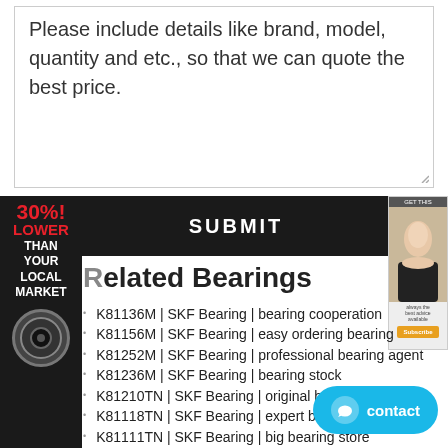Please include details like brand, model, quantity and etc., so that we can quote the best price.
SUBMIT
[Figure (illustration): Side banner with red text '30%! LOWER THAN YOUR LOCAL MARKET' and a bearing icon on dark background]
[Figure (photo): Right side advertisement with a woman's face photo and orange button]
Related Bearings
K81136M | SKF Bearing | bearing cooperation
K81156M | SKF Bearing | easy ordering bearing
K81252M | SKF Bearing | professional bearing agent
K81236M | SKF Bearing | bearing stock
K81210TN | SKF Bearing | original bearing
K81118TN | SKF Bearing | expert bearing
K81111TN | SKF Bearing | big bearing store
K81103TN | SKF Bearing | bearing import
K55x63x25 | SKF Bearing | various bearing models
SKF K81226TN Bearing - Original Bearing Agent in Indonesi
K81104TN | SKF Bearing | bearing experts
K81238M | SKF Bearing | bearing manufacture sal
K81128TN | SKF Bearing | brand bearing specialist